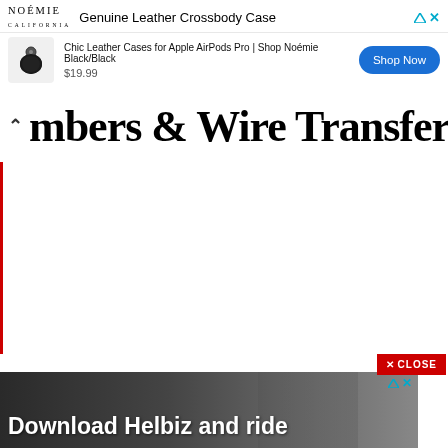[Figure (screenshot): Top advertisement banner for Noémie Genuine Leather Crossbody Case showing product image, price $19.99, and Shop Now button]
mbers & Wire Transfer
[Figure (screenshot): Bottom advertisement banner for Helbiz with dark background showing people on scooters and text 'Download Helbiz and ride']